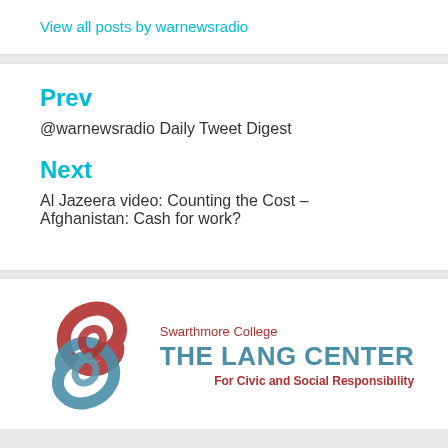View all posts by warnewsradio
Prev
@warnewsradio Daily Tweet Digest
Next
Al Jazeera video: Counting the Cost – Afghanistan: Cash for work?
[Figure (logo): Swarthmore College The Lang Center For Civic and Social Responsibility logo with red and blue swirl graphic]